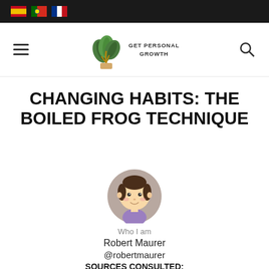[Figure (other): Black top navigation bar with three country flag icons (Spanish, Portuguese, French)]
[Figure (logo): Get Personal Growth website logo with leaf plant illustration and text GET PERSONAL GROWTH, plus hamburger menu and search icon navigation]
CHANGING HABITS: THE BOILED FROG TECHNIQUE
[Figure (illustration): Circular avatar illustration of a cartoon woman with brown hair wearing a purple top on a beige/grey background]
Who I am
Robert Maurer
@robertmaurer
SOURCES CONSULTED:
wikipedia.org